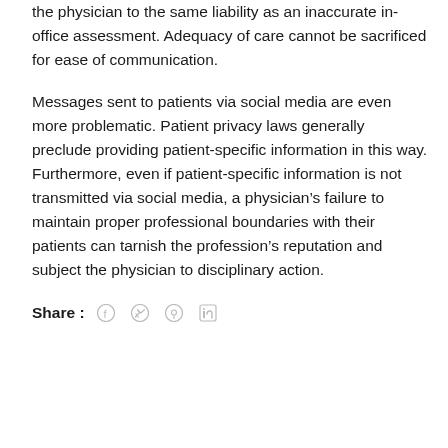the physician to the same liability as an inaccurate in-office assessment. Adequacy of care cannot be sacrificed for ease of communication.
Messages sent to patients via social media are even more problematic. Patient privacy laws generally preclude providing patient-specific information in this way. Furthermore, even if patient-specific information is not transmitted via social media, a physician’s failure to maintain proper professional boundaries with their patients can tarnish the profession’s reputation and subject the physician to disciplinary action.
Share : [social media icons: facebook, twitter, pinterest, linkedin]